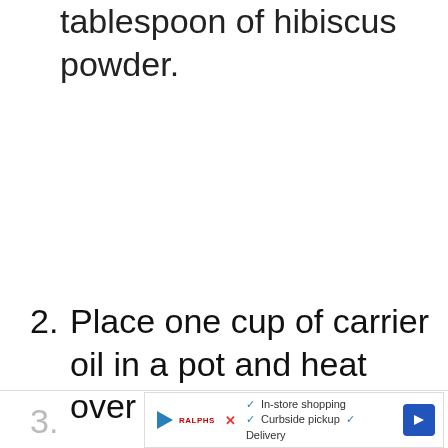Alternatively, you can use 1 tablespoon of hibiscus powder.
2. Place one cup of carrier oil in a pot and heat over medium-low heat.
3.
[Figure (other): Advertisement banner with play button, retailer logo, checkmarks for In-store shopping, Curbside pickup, Delivery, and a blue navigation arrow icon]